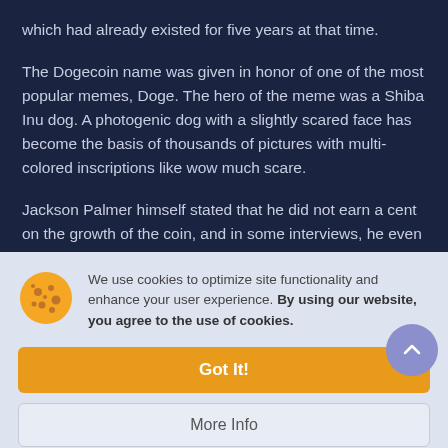which had already existed for five years at that time.
The Dogecoin name was given in honor of one of the most popular memes, Doge. The hero of the meme was a Shiba Inu dog. A photogenic dog with a slightly scared face has become the basis of thousands of pictures with multi-colored inscriptions like wow much scare.
Jackson Palmer himself stated that he did not earn a cent on the growth of the coin, and in some interviews, he even doubted the project's success. In 2018, he stated:
We use cookies to optimize site functionality and enhance your user experience. By using our website, you agree to the use of cookies.
Got It!
More Info